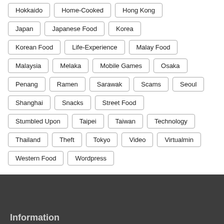Hokkaido
Home-Cooked
Hong Kong
Japan
Japanese Food
Korea
Korean Food
Life-Experience
Malay Food
Malaysia
Melaka
Mobile Games
Osaka
Penang
Ramen
Sarawak
Scams
Seoul
Shanghai
Snacks
Street Food
Stumbled Upon
Taipei
Taiwan
Technology
Thailand
Theft
Tokyo
Video
Virtualmin
Western Food
Wordpress
Information
Checkout